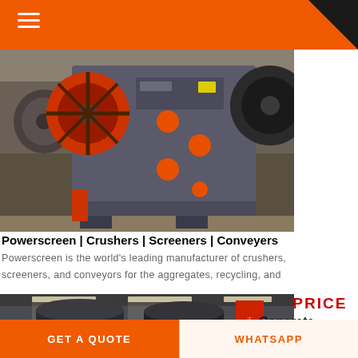≡ (hamburger menu)
[Figure (photo): Industrial jaw crusher machine in a factory setting, large grey body with red/orange flywheel, multiple orange accent bolts and components visible, factory floor with other machinery in background]
Powerscreen | Crushers | Screeners | Conveyers
Powerscreen is the world's leading manufacturer of crushers, screeners, and conveyors for the aggregates, recycling, and mining industries.
GET PRICE
[Figure (photo): Interior of industrial facility showing heavy machinery and equipment with Chinese commercial signage/banners visible, concrete batching plant components]
Concrete Batching Plant
GET A QUOTE | WHATSAPP